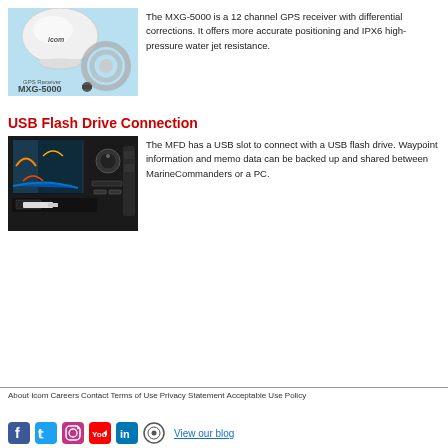[Figure (photo): Icom MXG-5000 GPS Receiver product photo on light blue background with cable]
The MXG-5000 is a 12 channel GPS receiver with differential corrections. It offers more accurate positioning and IPX6 high-pressure water jet resistance.
USB Flash Drive Connection
[Figure (photo): Close-up photo of MFD device with USB slot showing a USB flash drive being inserted]
The MFD has a USB slot to connect with a USB flash drive. Waypoint information and memo data can be backed up and shared between MarineCommanders or a PC.
About Icom   Careers   Contact   Terms of Use   Privacy Statement   Acceptable Use Policy
View our blog